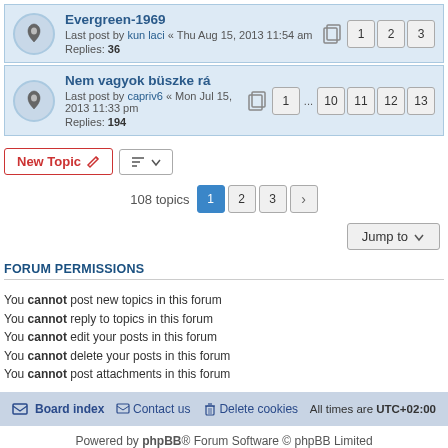Evergreen-1969 — Last post by kun laci « Thu Aug 15, 2013 11:54 am — Replies: 36 — Pages: 1 2 3
Nem vagyok büszke rá — Last post by capriv6 « Mon Jul 15, 2013 11:33 pm — Replies: 194 — Pages: 1 ... 10 11 12 13
New Topic   [sort button]
108 topics  1  2  3  >
Jump to
FORUM PERMISSIONS
You cannot post new topics in this forum
You cannot reply to topics in this forum
You cannot edit your posts in this forum
You cannot delete your posts in this forum
You cannot post attachments in this forum
Board index   Contact us   Delete cookies   All times are UTC+02:00
Powered by phpBB® Forum Software © phpBB Limited
Privacy | Terms